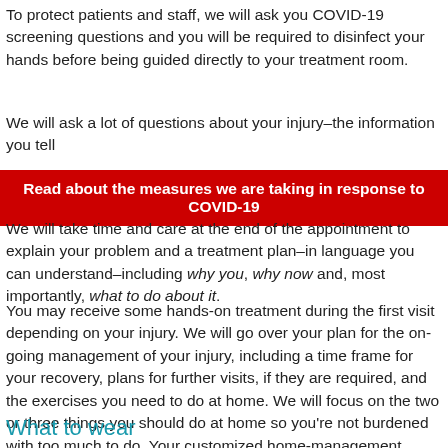To protect patients and staff, we will ask you COVID-19 screening questions and you will be required to disinfect your hands before being guided directly to your treatment room.
We will ask a lot of questions about your injury–the information you tell
Read about the measures we are taking in response to COVID-19
We will take time and care at the end of the appointment to explain your problem and a treatment plan–in language you can understand–including why you, why now and, most importantly, what to do about it.
You may receive some hands-on treatment during the first visit depending on your injury. We will go over your plan for the on-going management of your injury, including a time frame for your recovery, plans for further visits, if they are required, and the exercises you need to do at home. We will focus on the two or three things you should do at home so you're not burdened with too much to do. Your customized home-management program will be available to you via a website program called SimpleSet that you access from a link we will email you.
What to wear